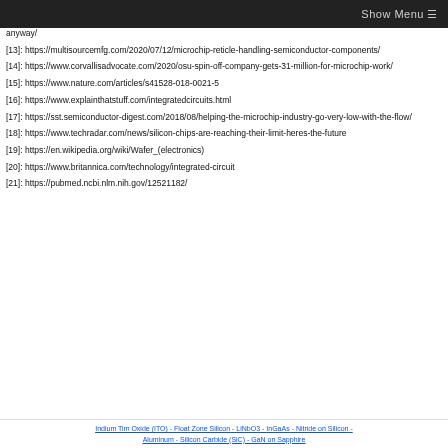Show Menu ☰
anyway/
[13]: https://multisourcemfg.com/2020/07/12/microchip-reticle-handling-semiconductor-components/
[14]: https://www.corvallisadvocate.com/2020/osu-spin-off-company-gets-31-million-for-microchip-work/
[15]: https://www.nature.com/articles/s41528-018-0021-5
[16]: https://www.explainthatstuff.com/integratedcircuits.html
[17]: https://sst.semiconductor-digest.com/2018/08/helping-the-microchip-industry-go-very-low-with-the-flow/
[18]: https://www.techradar.com/news/silicon-chips-are-reaching-their-limit-heres-the-future
[19]: https://en.wikipedia.org/wiki/Wafer_(electronics)
[20]: https://www.britannica.com/technology/integrated-circuit
[21]: https://pubmed.ncbi.nlm.nih.gov/12521182/
Indium Tim Oxide (ITO) - Float Zone Silicon - LiNbO3 - InGaAs - Nitride on Silicon - Aluminum - Silicon Carbide (SiC) - GaN on Sapphire